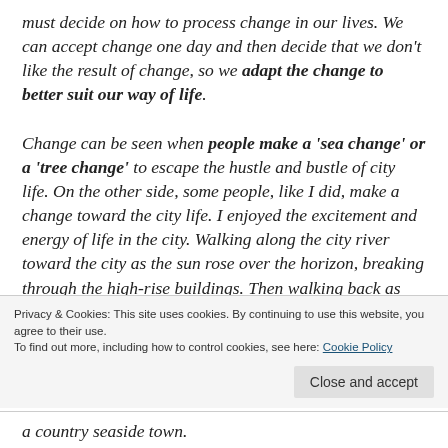must decide on how to process change in our lives. We can accept change one day and then decide that we don't like the result of change, so we adapt the change to better suit our way of life. Change can be seen when people make a 'sea change' or a 'tree change' to escape the hustle and bustle of city life. On the other side, some people, like I did, make a change toward the city life. I enjoyed the excitement and energy of life in the city. Walking along the city river toward the city as the sun rose over the horizon, breaking through the high-rise buildings. Then walking back as the night
Privacy & Cookies: This site uses cookies. By continuing to use this website, you agree to their use. To find out more, including how to control cookies, see here: Cookie Policy
a country seaside town.